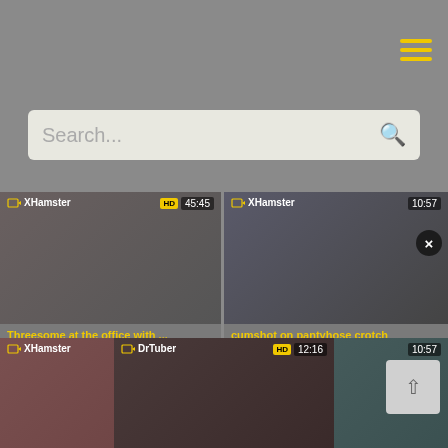Menu (hamburger icon)
Search...
[Figure (screenshot): Video thumbnail for 'Threesome at the office with ...' - XHamster source, tags: Teen, Asian]
Threesome at the office with ...
Teen  Asian
[Figure (screenshot): Video thumbnail for 'cumshot on pantyhose crotch' - XHamster source, 10:57 duration, tags: Asian, Cum]
cumshot on pantyhose crotch
Asian  Cum
[Figure (screenshot): Video thumbnail for 'SOFT GEISHA LYN PROVOCA...' - XHamster source, HD, 45:45 duration, tags: Asian, Homemade]
SOFT GEISHA LYN PROVOCA...
Asian  Homemade
[Figure (screenshot): Video thumbnail for 'Fucked Up In Yellow Hose' - XHamster source, 10:57 duration, tags: Teen, Asian, C...]
Fucked Up In Yellow Hose
Teen  Asian  C...
[Figure (screenshot): Video thumbnail for bottom center card - DrTuber source, HD, 12:16 duration]